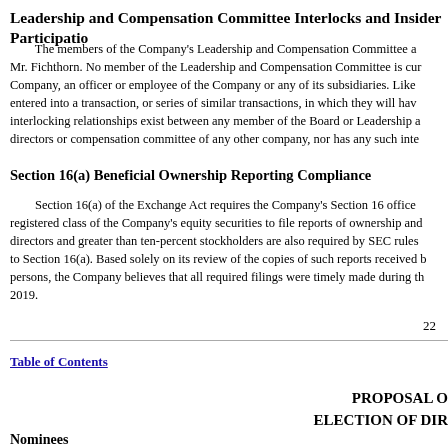Leadership and Compensation Committee Interlocks and Insider Participation
The members of the Company's Leadership and Compensation Committee are Mr. Fichthorn. No member of the Leadership and Compensation Committee is currently an officer or employee of the Company or any of its subsidiaries. Likewise, no member has entered into a transaction, or series of similar transactions, in which they will have a direct interest. No interlocking relationships exist between any member of the Board or Leadership and Compensation Committee and directors or compensation committee of any other company, nor has any such interlocking relationship existed.
Section 16(a) Beneficial Ownership Reporting Compliance
Section 16(a) of the Exchange Act requires the Company's Section 16 officers and directors and each person who owns more than ten percent of a registered class of the Company's equity securities to file reports of ownership and changes in ownership with the SEC. These directors and greater than ten-percent stockholders are also required by SEC rules to furnish the Company with copies of all reports filed pursuant to Section 16(a). Based solely on its review of the copies of such reports received by the Company, and written representations from certain reporting persons, the Company believes that all required filings were timely made during the fiscal year ended December 31, 2019.
22
Table of Contents
PROPOSAL ONE ELECTION OF DIRECTORS
Nominees